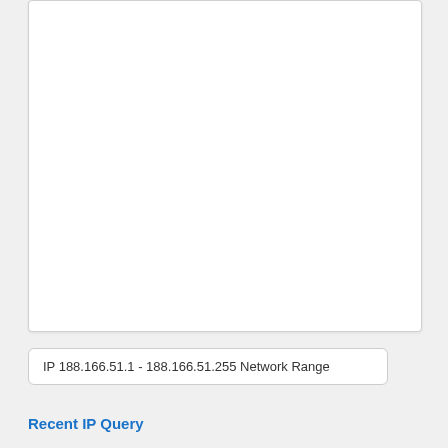[Figure (screenshot): White card/panel area, mostly blank white space with border]
IP 188.166.51.1 - 188.166.51.255 Network Range
Recent IP Query